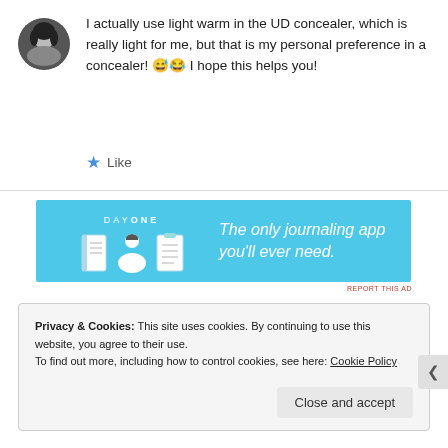I actually use light warm in the UD concealer, which is really light for me, but that is my personal preference in a concealer! 😅😂 I hope this helps you!
★ Like
[Figure (infographic): Day One journaling app advertisement banner on blue background. Shows app icons and text: 'The only journaling app you'll ever need.']
REPORT THIS AD
Privacy & Cookies: This site uses cookies. By continuing to use this website, you agree to their use. To find out more, including how to control cookies, see here: Cookie Policy
Close and accept